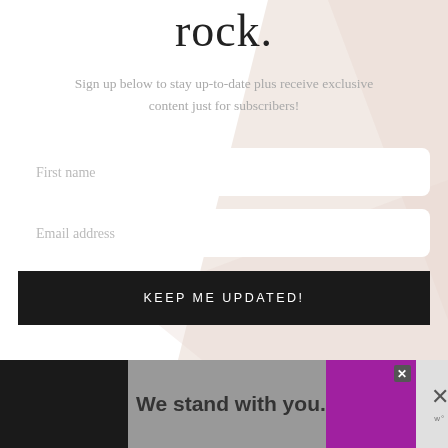rock.
Sign up below to stay up-to-date plus receive exclusive content just for subscribers!
[Figure (infographic): Newsletter signup form with First name and Email address input fields and a KEEP ME UPDATED! button, overlaid on a decorative beige/blush geometric shape background]
[Figure (infographic): Advertisement banner at the bottom: dark block on left, gray block with 'We stand with you.' text, purple block with close button, and gray close panel on right]